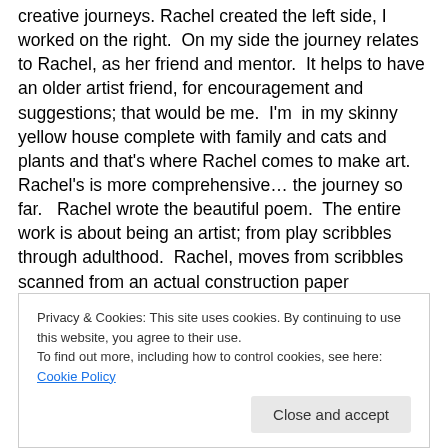creative journeys. Rachel created the left side, I worked on the right.  On my side the journey relates to Rachel, as her friend and mentor.  It helps to have an older artist friend, for encouragement and suggestions; that would be me.  I'm  in my skinny yellow house complete with family and cats and plants and that's where Rachel comes to make art.  Rachel's is more comprehensive… the journey so far.   Rachel wrote the beautiful poem.  The entire work is about being an artist; from play scribbles through adulthood.  Rachel, moves from scribbles scanned from an actual construction paper masterpiece she created as a
Privacy & Cookies: This site uses cookies. By continuing to use this website, you agree to their use.
To find out more, including how to control cookies, see here: Cookie Policy